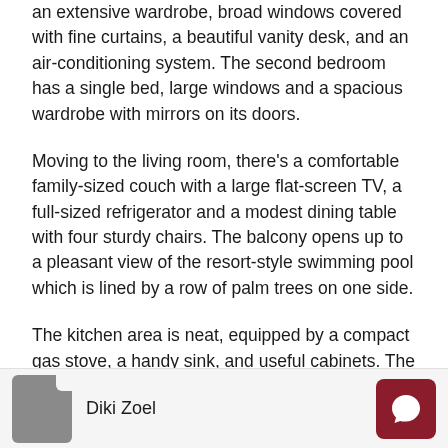an extensive wardrobe, broad windows covered with fine curtains, a beautiful vanity desk, and an air-conditioning system. The second bedroom has a single bed, large windows and a spacious wardrobe with mirrors on its doors.
Moving to the living room, there's a comfortable family-sized couch with a large flat-screen TV, a full-sized refrigerator and a modest dining table with four sturdy chairs. The balcony opens up to a pleasant view of the resort-style swimming pool which is lined by a row of palm trees on one side.
The kitchen area is neat, equipped by a compact gas stove, a handy sink, and useful cabinets. The bathroom is fully-tiled with a refreshing shower and huge mirror attached on the wall.
Diki Zoel